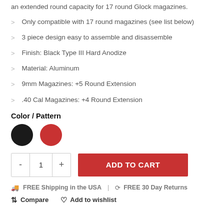an extended round capacity for 17 round Glock magazines.
Only compatible with 17 round magazines (see list below)
3 piece design easy to assemble and disassemble
Finish: Black Type III Hard Anodize
Material: Aluminum
9mm Magazines: +5 Round Extension
.40 Cal Magazines: +4 Round Extension
Color / Pattern
[Figure (illustration): Two color swatches: black circle and red circle]
- 1 +   ADD TO CART
FREE Shipping in the USA  |  FREE 30 Day Returns
Compare   Add to wishlist